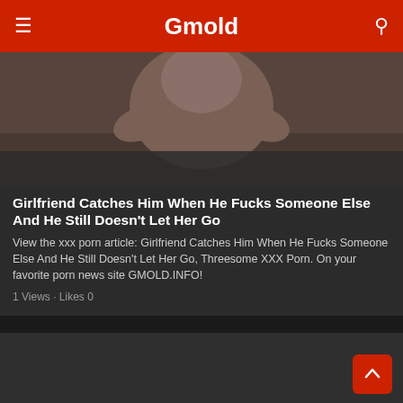Gmold
[Figure (photo): Partially visible person photo used as article thumbnail]
Girlfriend Catches Him When He Fucks Someone Else And He Still Doesn't Let Her Go
View the xxx porn article: Girlfriend Catches Him When He Fucks Someone Else And He Still Doesn't Let Her Go, Threesome XXX Porn. On your favorite porn news site GMOLD.INFO!
1 Views · Likes 0
[Figure (photo): Dark thumbnail image for second article card]